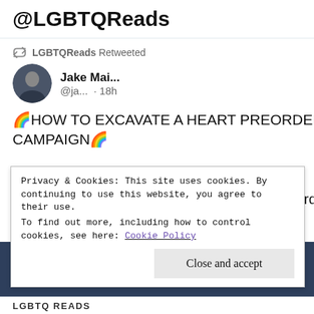@LGBTQReads
LGBTQReads Retweeted
Jake Mai... @ja... · 18h
🌈HOW TO EXCAVATE A HEART PREORDER CAMPAIGN🌈
@Neobees, cover artist of HTEAH,made this GORGEOUS print which can be urs if u preorder! go to excavateyourheart.com
Privacy & Cookies: This site uses cookies. By continuing to use this website, you agree to their use.
To find out more, including how to control cookies, see here: Cookie Policy
Close and accept
LGBTQ READS